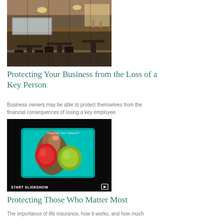[Figure (photo): Interior of a restaurant with tables, chairs, bar area with pendant lights and display cases in warm ambient lighting]
Protecting Your Business from the Loss of a Key Person
Business owners may be able to protect themselves from the financial consequences of losing a key employee.
[Figure (photo): Hands touching a tablet screen showing colorful fruit graphics with START SLIDESHOW label at bottom left]
Protecting Those Who Matter Most
The importance of life insurance, how it works, and how much